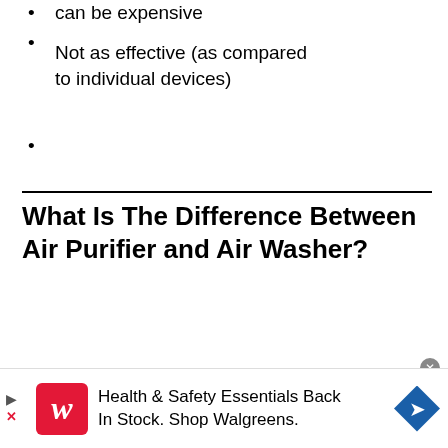can be expensive
Not as effective (as compared to individual devices)
What Is The Difference Between Air Purifier and Air Washer?
An “air purifier” is a device that helps in removing the pollutants